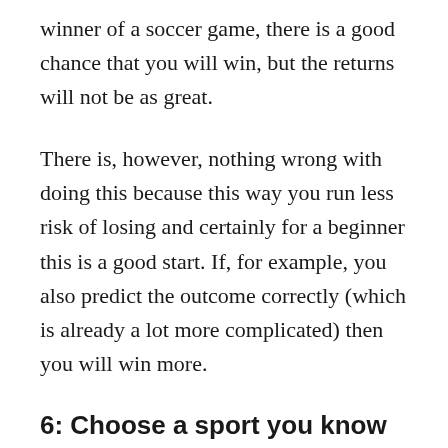winner of a soccer game, there is a good chance that you will win, but the returns will not be as great.
There is, however, nothing wrong with doing this because this way you run less risk of losing and certainly for a beginner this is a good start. If, for example, you also predict the outcome correctly (which is already a lot more complicated) then you will win more.
6: Choose a sport you know well and like
If you bet on a certain club or your favorite